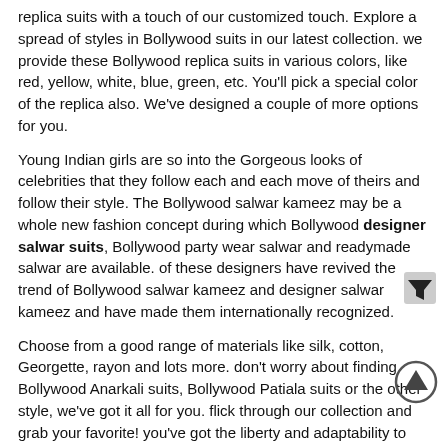replica suits with a touch of our customized touch. Explore a spread of styles in Bollywood suits in our latest collection. we provide these Bollywood replica suits in various colors, like red, yellow, white, blue, green, etc. You'll pick a special color of the replica also. We've designed a couple of more options for you.
Young Indian girls are so into the Gorgeous looks of celebrities that they follow each and each move of theirs and follow their style. The Bollywood salwar kameez may be a whole new fashion concept during which Bollywood designer salwar suits, Bollywood party wear salwar and readymade salwar are available. of these designers have revived the trend of Bollywood salwar kameez and designer salwar kameez and have made them internationally recognized.
Choose from a good range of materials like silk, cotton, Georgette, rayon and lots more. don't worry about finding Bollywood Anarkali suits, Bollywood Patiala suits or the other style, we've got it all for you. flick through our collection and grab your favorite! you've got the liberty and adaptability to settle on from any design you would like within the Bollywood suits. Moreover, there are hosts of stores online so that you'll flick through the gathering of Bollywood style suits online. supported your budget and preferences, you'll shortlist a number of them. Therefore, you'll adorn yourself in parties, weddings or maybe on casual occasions. Even if, you purchase style suits, you ought to confirm that the standard of those suits is sweet. this may